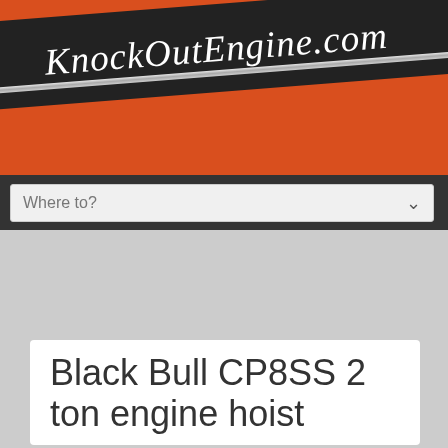KnockOutEngine.com
Where to?
Black Bull CP8SS 2 ton engine hoist